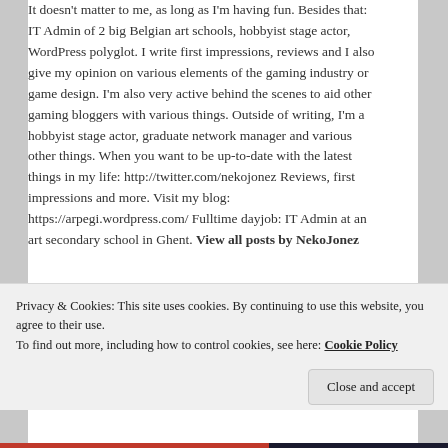It doesn't matter to me, as long as I'm having fun. Besides that: IT Admin of 2 big Belgian art schools, hobbyist stage actor, WordPress polyglot. I write first impressions, reviews and I also give my opinion on various elements of the gaming industry or game design. I'm also very active behind the scenes to aid other gaming bloggers with various things. Outside of writing, I'm a hobbyist stage actor, graduate network manager and various other things. When you want to be up-to-date with the latest things in my life: http://twitter.com/nekojonez Reviews, first impressions and more. Visit my blog: https://arpegi.wordpress.com/ Fulltime dayjob: IT Admin at an art secondary school in Ghent. View all posts by NekoJonez
Posted on May 10, 2018 by NekoJonez
Posted in Articles, Publishing
Privacy & Cookies: This site uses cookies. By continuing to use this website, you agree to their use.
To find out more, including how to control cookies, see here: Cookie Policy